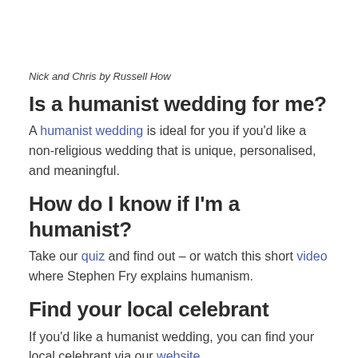Nick and Chris by Russell How
Is a humanist wedding for me?
A humanist wedding is ideal for you if you'd like a non-religious wedding that is unique, personalised, and meaningful.
How do I know if I'm a humanist?
Take our quiz and find out – or watch this short video where Stephen Fry explains humanism.
Find your local celebrant
If you'd like a humanist wedding, you can find your local celebrant via our website.